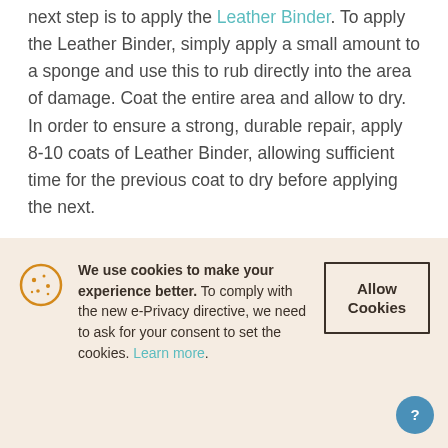next step is to apply the Leather Binder. To apply the Leather Binder, simply apply a small amount to a sponge and use this to rub directly into the area of damage. Coat the entire area and allow to dry. In order to ensure a strong, durable repair, apply 8-10 coats of Leather Binder, allowing sufficient time for the previous coat to dry before applying the next.
[Figure (photo): Partial photo of a leather item, partially obscured by cookie consent banner]
We use cookies to make your experience better. To comply with the new e-Privacy directive, we need to ask for your consent to set the cookies. Learn more.